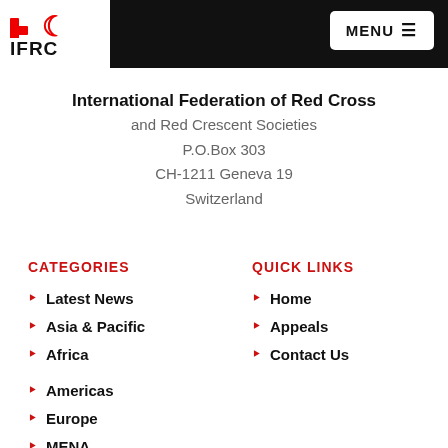IFRC — International Federation of Red Cross and Red Crescent Societies — MENU
International Federation of Red Cross and Red Crescent Societies
P.O.Box 303
CH-1211 Geneva 19
Switzerland
CATEGORIES
Latest News
Asia & Pacific
Africa
Americas
Europe
MENA
QUICK LINKS
Home
Appeals
Contact Us